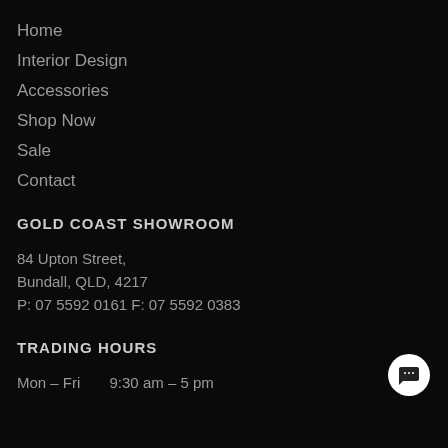Home
Interior Design
Accessories
Shop Now
Sale
Contact
GOLD COAST SHOWROOM
84 Upton Street,
Bundall, QLD, 4217
P: 07 5592 0161 F: 07 5592 0383
TRADING HOURS
Mon – Fri       9:30 am – 5 pm